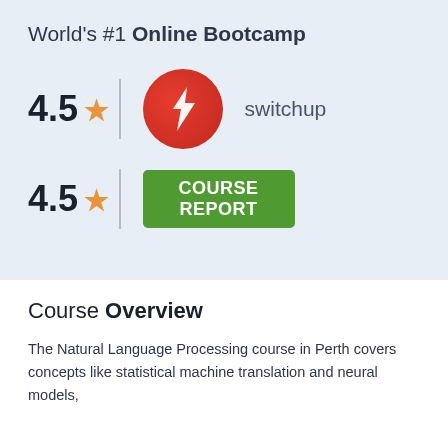World's #1 Online Bootcamp
[Figure (logo): Switchup rating block: 4.5 stars with Switchup circular red logo and text 'switchup']
[Figure (logo): Course Report rating block: 4.5 stars with green Course Report badge showing 'COURSE REPORT']
Course Overview
The Natural Language Processing course in Perth covers concepts like statistical machine translation and neural models,